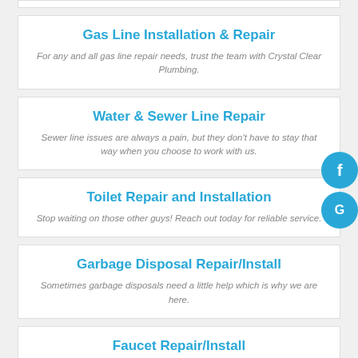Gas Line Installation & Repair
For any and all gas line repair needs, trust the team with Crystal Clear Plumbing.
Water & Sewer Line Repair
Sewer line issues are always a pain, but they don't have to stay that way when you choose to work with us.
Toilet Repair and Installation
Stop waiting on those other guys! Reach out today for reliable service.
Garbage Disposal Repair/Install
Sometimes garbage disposals need a little help which is why we are here.
Faucet Repair/Install
Whether you need a new faucet in your kitchen or your ...